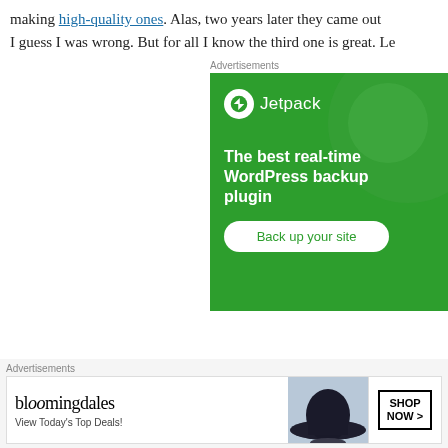making high-quality ones. Alas, two years later they came out with a third one. I guess I was wrong. But for all I know the third one is great. Le
[Figure (screenshot): Jetpack advertisement banner: green background with Jetpack logo and lightning bolt icon, tagline 'The best real-time WordPress backup plugin', and a 'Back up your site' button]
6. Cobber the Swift
[Figure (screenshot): Bloomingdale's advertisement banner: logo, 'View Today's Top Deals!' tagline, photo of woman in hat, and 'SHOP NOW >' button]